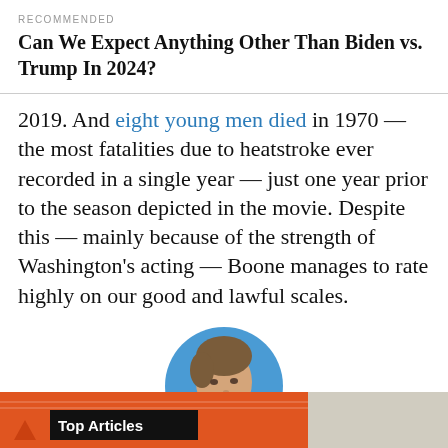RECOMMENDED
Can We Expect Anything Other Than Biden vs. Trump In 2024?
2019. And eight young men died in 1970 — the most fatalities due to heatstroke ever recorded in a single year — just one year prior to the season depicted in the movie. Despite this — mainly because of the strength of Washington’s acting — Boone manages to rate highly on our good and lawful scales.
[Figure (photo): Circular portrait photo of a man with brown hair on a blue background]
Recent Stories from FiveThirtyEight
[Figure (screenshot): Orange banner with Top Articles label and decorative lines]